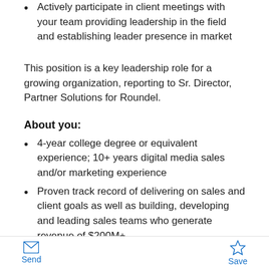Actively participate in client meetings with your team providing leadership in the field and establishing leader presence in market
This position is a key leadership role for a growing organization, reporting to Sr. Director, Partner Solutions for Roundel.
About you:
4-year college degree or equivalent experience; 10+ years digital media sales and/or marketing experience
Proven track record of delivering on sales and client goals as well as building, developing and leading sales teams who generate revenue of $200M+